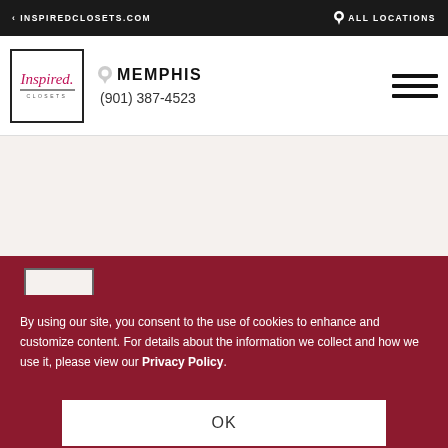< INSPIREDCLOSETS.COM   ♥ ALL LOCATIONS
[Figure (logo): Inspired Closets logo - cursive text in a bordered box]
MEMPHIS
(901) 387-4523
[Figure (logo): Inspired Closets logo - footer version in bordered box]
(901) 387-4523
DOWNLOAD IDENS BROCHURE
By using our site, you consent to the use of cookies to enhance and customize content. For details about the information we collect and how we use it, please view our Privacy Policy.
OK